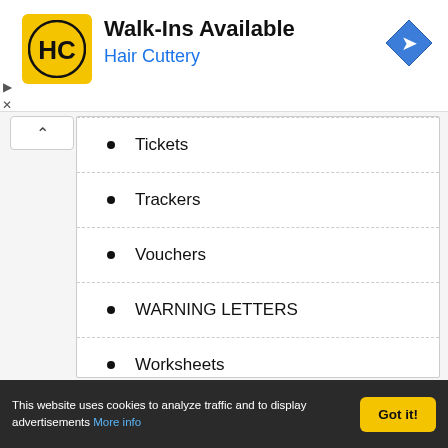[Figure (logo): Hair Cuttery advertisement banner with HC logo, 'Walk-Ins Available' title and 'Hair Cuttery' subtitle in blue, plus blue navigation arrow icon]
Tickets
Trackers
Vouchers
WARNING LETTERS
Worksheets
This website uses cookies to analyze traffic and to display advertisements More info